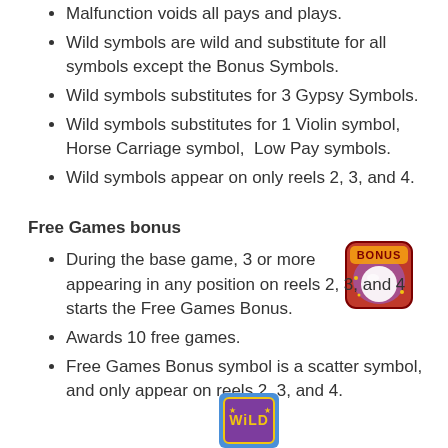Malfunction voids all pays and plays.
Wild symbols are wild and substitute for all symbols except the Bonus Symbols.
Wild symbols substitutes for 3 Gypsy Symbols.
Wild symbols substitutes for 1 Violin symbol, Horse Carriage symbol,  Low Pay symbols.
Wild symbols appear on only reels 2, 3, and 4.
Free Games bonus
During the base game, 3 or more [BONUS SYMBOL] appearing in any position on reels 2, 3, and 4 starts the Free Games Bonus.
Awards 10 free games.
Free Games Bonus symbol is a scatter symbol, and only appear on reels 2, 3, and 4.
[Figure (illustration): Bonus symbol: a glowing pearl with red gem border and gold BONUS text]
[Figure (illustration): Wild symbol: purple card with gold WILD text on blue background]